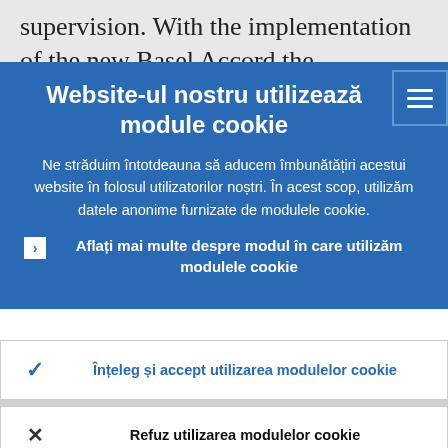supervision. With the implementation of the new Basel Accord the importance of
Website-ul nostru utilizează module cookie
Ne străduim întotdeauna să aducem îmbunătățiri acestui website în folosul utilizatorilor noștri. În acest scop, utilizăm datele anonime furnizate de modulele cookie.
Aflați mai multe despre modul în care utilizăm modulele cookie
Înțeleg și accept utilizarea modulelor cookie
Refuz utilizarea modulelor cookie